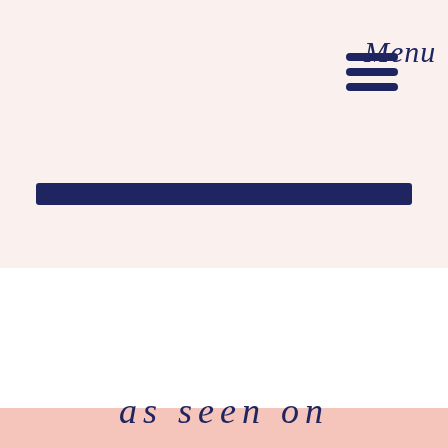[Figure (infographic): Hamburger menu icon with three navy horizontal lines stacked vertically, followed by the word 'Menu' in cursive/italic navy script below the icon]
[Figure (other): A thick navy blue horizontal bar/divider spanning most of the page width]
as seen on